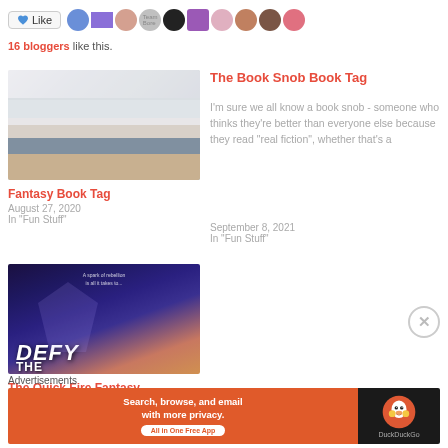[Figure (screenshot): Like button with avatars of 16 bloggers]
16 bloggers like this.
[Figure (photo): Stack of books photo]
Fantasy Book Tag
August 27, 2020
In "Fun Stuff"
The Book Snob Book Tag
I'm sure we all know a book snob - someone who thinks they're better than everyone else because they read "real fiction", whether that's a
September 8, 2021
In "Fun Stuff"
[Figure (photo): Book cover for DEFY THE - fantasy book cover with purple tones and text DEFY THE]
The Quick Fire Fantasy
Advertisements
[Figure (screenshot): DuckDuckGo advertisement banner: Search, browse, and email with more privacy. All in One Free App]